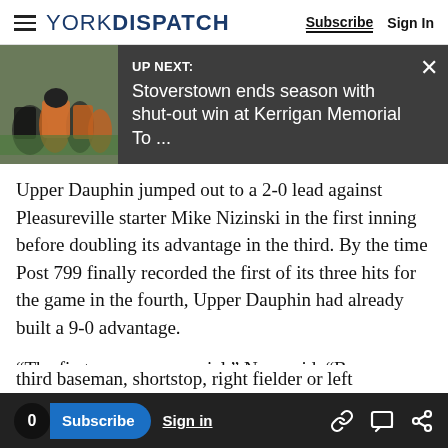YORK DISPATCH | Subscribe | Sign In
[Figure (screenshot): UP NEXT: Stoverstown ends season with shut-out win at Kerrigan Memorial To ... - dark bar with thumbnail image of baseball players]
Upper Dauphin jumped out to a 2-0 lead against Pleasureville starter Mike Nizinski in the first inning before doubling its advantage in the third. By the time Post 799 finally recorded the first of its three hits for the game in the fourth, Upper Dauphin had already built a 9-0 advantage.
“The first game was crucial,” Ness said. “Because even if we lost (Saturday) we would have had nearly all of our guys back for Sunday. But
third baseman, shortstop, right fielder or left
0 Subscribe Sign in